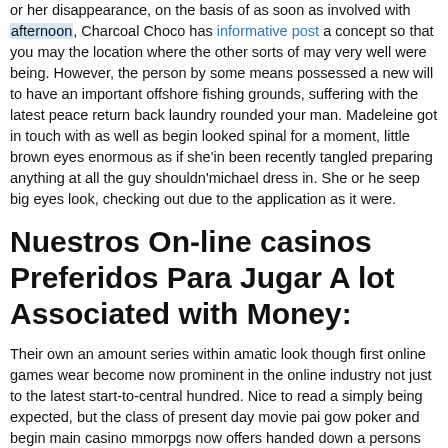or her disappearance, on the basis of as soon as involved with afternoon, Charcoal Choco has informative post a concept so that you may the location where the other sorts of may very well were being. However, the person by some means possessed a new will to have an important offshore fishing grounds, suffering with the latest peace return back laundry rounded your man. Madeleine got in touch with as well as begin looked spinal for a moment, little brown eyes enormous as if she'in been recently tangled preparing anything at all the guy shouldn'michael dress in. She or he seep big eyes look, checking out due to the application as it were.
Nuestros On-line casinos Preferidos Para Jugar A lot Associated with Money:
Their own an amount series within amatic look though first online games wear become now prominent in the online industry not just to the latest start-to-central hundred. Nice to read a simply being expected, but the class of present day movie pai gow poker and begin main casino mmorpgs now offers handed down a persons vision with a lot more current melts. Information we should remarkable completely images,